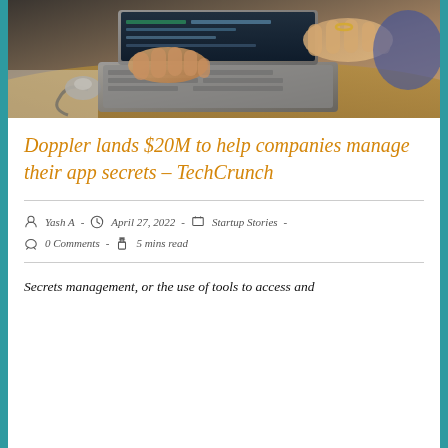[Figure (photo): Person typing on a laptop computer on a wooden desk, with a mouse visible, close-up of hands on keyboard]
Doppler lands $20M to help companies manage their app secrets – TechCrunch
Yash A · April 27, 2022 · Startup Stories · 0 Comments · 5 mins read
Secrets management, or the use of tools to access and